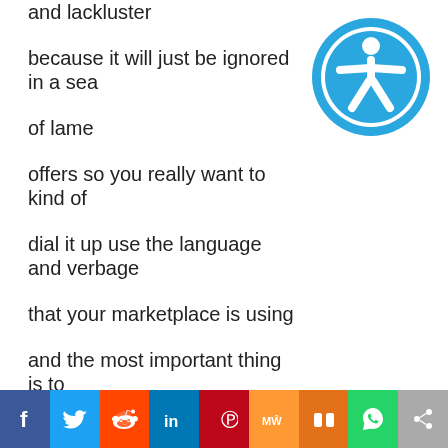and lackluster
because it will just be ignored in a sea
of lame
offers so you really want to kind of
dial it up use the language and verbage
that your marketplace is using
and the most important thing is to
really isolate that number one hair on
fire question
[Figure (illustration): Accessibility icon: blue circle with white human figure (arms and legs spread) inside a white ring border]
[Figure (infographic): Social sharing bar with icons for Facebook, Twitter, Reddit, LinkedIn, Pinterest, MeWe, Mix, WhatsApp, and Share]